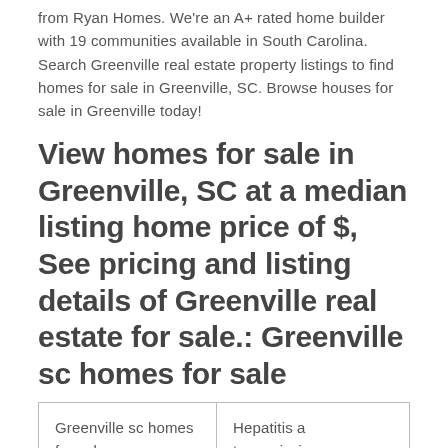from Ryan Homes. We're an A+ rated home builder with 19 communities available in South Carolina. Search Greenville real estate property listings to find homes for sale in Greenville, SC. Browse houses for sale in Greenville today!
View homes for sale in Greenville, SC at a median listing home price of $, See pricing and listing details of Greenville real estate for sale.: Greenville sc homes for sale
| Greenville sc homes for sale | Hepatitis a transmission |
| Backup camera with bluetooth | 478 |